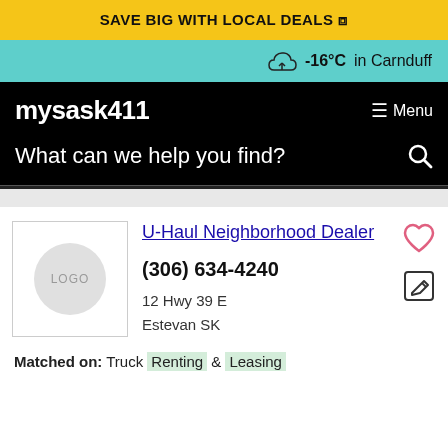SAVE BIG WITH LOCAL DEALS
-16°C in Carnduff
mysask411
Menu
What can we help you find?
U-Haul Neighborhood Dealer
(306) 634-4240
12 Hwy 39 E
Estevan SK
Matched on: Truck Renting & Leasing